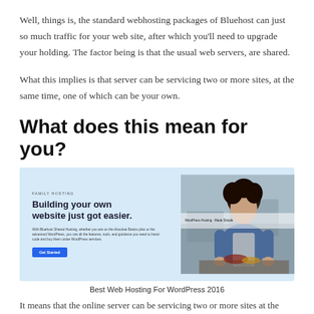Well, things is, the standard webhosting packages of Bluehost can just so much traffic for your web site, after which you'll need to upgrade your holding. The factor being is that the usual web servers, are shared.
What this implies is that server can be servicing two or more sites, at the same time, one of which can be your own.
What does this mean for you?
[Figure (screenshot): Screenshot of Bluehost website showing 'Building your own website just got easier.' headline with a person cooking in the background on the right side. Light blue background layout with a call-to-action button.]
Best Web Hosting For WordPress 2016
It means that the online server can be servicing two or more sites at the same time, one of which can be your own.